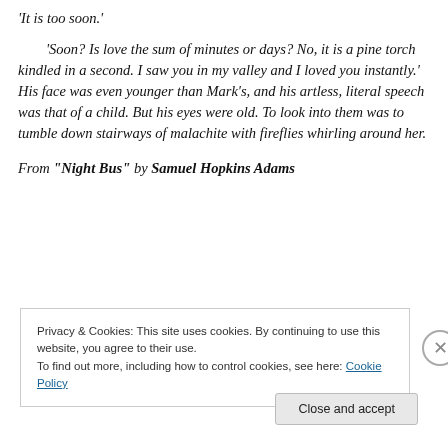'It is too soon.'
'Soon? Is love the sum of minutes or days? No, it is a pine torch kindled in a second. I saw you in my valley and I loved you instantly.' His face was even younger than Mark's, and his artless, literal speech was that of a child. But his eyes were old. To look into them was to tumble down stairways of malachite with fireflies whirling around her.
From "Night Bus" by Samuel Hopkins Adams
Privacy & Cookies: This site uses cookies. By continuing to use this website, you agree to their use.
To find out more, including how to control cookies, see here: Cookie Policy
Close and accept